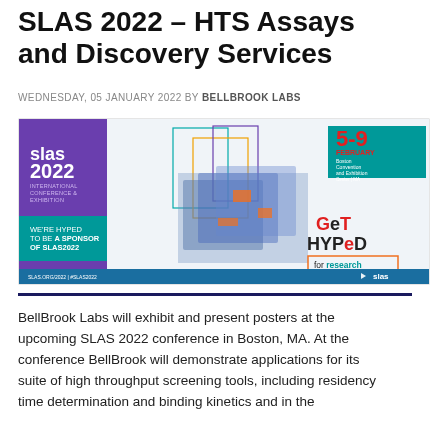SLAS 2022 – HTS Assays and Discovery Services
WEDNESDAY, 05 JANUARY 2022 BY BELLBROOK LABS
[Figure (photo): SLAS 2022 International Conference & Exhibition promotional banner. Purple and teal design showing 'WE'RE HYPED TO BE A SPONSOR OF SLAS2022' and 'GET HYPED for research', with date 5-9 February at Boston Convention and Exhibition Center, MA. SLAS logo at bottom right.]
BellBrook Labs will exhibit and present posters at the upcoming SLAS 2022 conference in Boston, MA. At the conference BellBrook will demonstrate applications for its suite of high throughput screening tools, including residency time determination and binding kinetics and in the